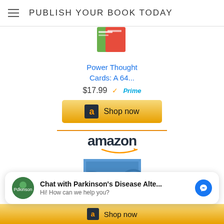PUBLISH YOUR BOOK TODAY
[Figure (photo): Partial product image at top — colorful cards/book cover (Power Thought Cards)]
Power Thought Cards: A 64...
$17.99 ✓Prime
[Figure (screenshot): Amazon 'Shop now' button with Amazon 'a' icon on gold background]
[Figure (logo): Amazon logo with orange arrow swoosh]
[Figure (photo): Book cover: Awakenings Peace Dictionary Language and the Mind by Gadbury Dundum]
Chat with Parkinson's Disease Alte...
Hi! How can we help you?
[Figure (screenshot): Amazon 'Shop now' button at bottom]